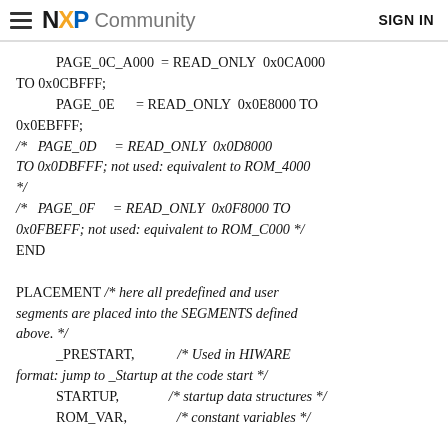NXP Community  SIGN IN
PAGE_0C_A000 = READ_ONLY  0x0CA000 TO 0x0CBFFF;
    PAGE_0E      = READ_ONLY  0x0E8000 TO 0x0EBFFF;
/*  PAGE_0D      = READ_ONLY  0x0D8000 TO 0x0DBFFF; not used: equivalent to ROM_4000 */
/*  PAGE_0F      = READ_ONLY  0x0F8000 TO 0x0FBEFF; not used: equivalent to ROM_C000 */
END

PLACEMENT /* here all predefined and user segments are placed into the SEGMENTS defined above. */
    _PRESTART,            /* Used in HIWARE format: jump to _Startup at the code start */
    STARTUP,              /* startup data structures */
    ROM_VAR,              /* constant variables */